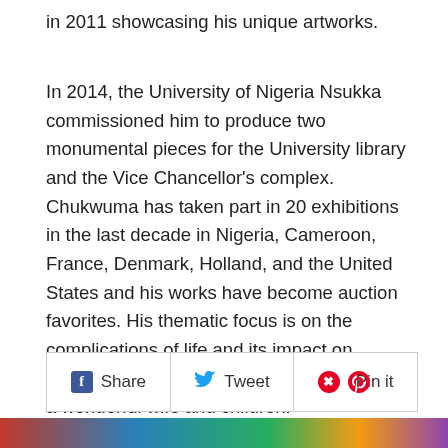in 2011 showcasing his unique artworks.
In 2014, the University of Nigeria Nsukka commissioned him to produce two monumental pieces for the University library and the Vice Chancellor's complex. Chukwuma has taken part in 20 exhibitions in the last decade in Nigeria, Cameroon, France, Denmark, Holland, and the United States and his works have become auction favorites. His thematic focus is on the complications of life and its impact on everyday people. He says he is blessed with a wonderful wife and children.
[Figure (other): Social sharing buttons: Share (Facebook), Tweet (Twitter), Pin it (Pinterest)]
[Figure (photo): Partial colorful image strip at the bottom of the page]